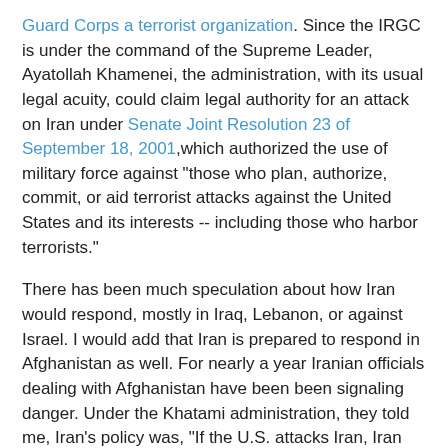Guard Corps a terrorist organization. Since the IRGC is under the command of the Supreme Leader, Ayatollah Khamenei, the administration, with its usual legal acuity, could claim legal authority for an attack on Iran under Senate Joint Resolution 23 of September 18, 2001, which authorized the use of military force against "those who plan, authorize, commit, or aid terrorist attacks against the United States and its interests -- including those who harbor terrorists."
There has been much speculation about how Iran would respond, mostly in Iraq, Lebanon, or against Israel. I would add that Iran is prepared to respond in Afghanistan as well. For nearly a year Iranian officials dealing with Afghanistan have been been signaling danger. Under the Khatami administration, they told me, Iran's policy was, "If the U.S. attacks Iran, Iran will not react in Afghanistan," because of Iran's overriding interest in keeping the country stable as a bulwark against Taliban and al-Qaida. Under President Ahmadinejad, priorities have changed.